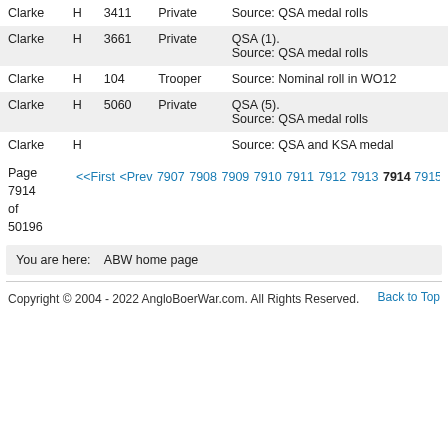| Last Name | Init | Number | Rank | Notes |
| --- | --- | --- | --- | --- |
| Clarke | H | 3411 | Private | Source: QSA medal rolls |
| Clarke | H | 3661 | Private | QSA (1).
Source: QSA medal rolls |
| Clarke | H | 104 | Trooper | Source: Nominal roll in WO12 |
| Clarke | H | 5060 | Private | QSA (5).
Source: QSA medal rolls |
| Clarke | H |  |  | Source: QSA and KSA medal |
Page 7914 of 50196  <<First <Prev 7907 7908 7909 7910 7911 7912 7913 7914 7915 7916
You are here:   ABW home page
Copyright © 2004 - 2022 AngloBoerWar.com. All Rights Reserved.   Back to Top